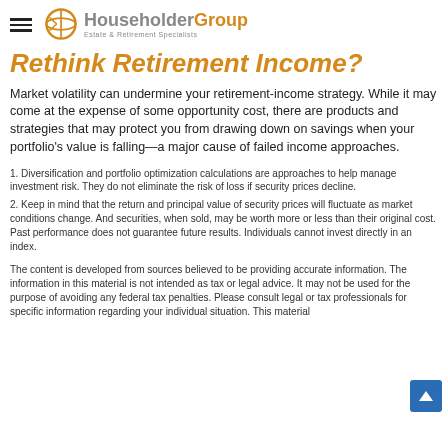Householder Group — Estate & Retirement Specialists
Rethink Retirement Income?
Market volatility can undermine your retirement-income strategy. While it may come at the expense of some opportunity cost, there are products and strategies that may protect you from drawing down on savings when your portfolio's value is falling—a major cause of failed income approaches.
1. Diversification and portfolio optimization calculations are approaches to help manage investment risk. They do not eliminate the risk of loss if security prices decline.
2. Keep in mind that the return and principal value of security prices will fluctuate as market conditions change. And securities, when sold, may be worth more or less than their original cost. Past performance does not guarantee future results. Individuals cannot invest directly in an index.
The content is developed from sources believed to be providing accurate information. The information in this material is not intended as tax or legal advice. It may not be used for the purpose of avoiding any federal tax penalties. Please consult legal or tax professionals for specific information regarding your individual situation. This material was developed and produced by FMG Suite to provide information on a topic that may be